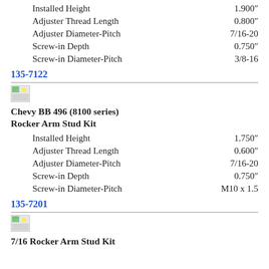Installed Height    1.900″
Adjuster Thread Length    0.800″
Adjuster Diameter-Pitch    7/16-20
Screw-in Depth    0.750″
Screw-in Diameter-Pitch    3/8-16
135-7122
[Figure (photo): Product image placeholder for Chevy BB 496 Rocker Arm Stud Kit]
Chevy BB 496 (8100 series) Rocker Arm Stud Kit
Installed Height    1.750″
Adjuster Thread Length    0.600″
Adjuster Diameter-Pitch    7/16-20
Screw-in Depth    0.750″
Screw-in Diameter-Pitch    M10 x 1.5
135-7201
[Figure (photo): Product image placeholder for 7/16 Rocker Arm Stud Kit]
7/16 Rocker Arm Stud Kit